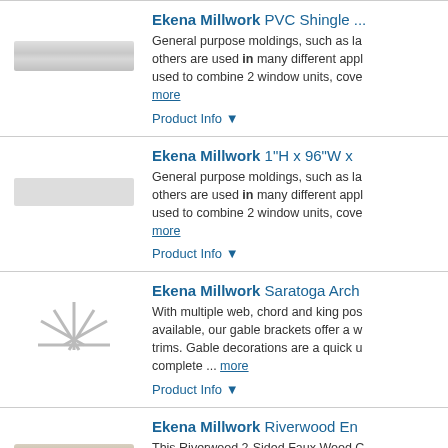[Figure (photo): Product image of Ekena Millwork PVC Shingle molding strip]
Ekena Millwork PVC Shingle ...
General purpose moldings, such as la... others are used in many different appl... used to combine 2 window units, cove... more
Product Info ▼
[Figure (photo): Product image of Ekena Millwork 1"H x 96"W flat molding]
Ekena Millwork 1"H x 96"W x ...
General purpose moldings, such as la... others are used in many different appl... used to combine 2 window units, cove... more
Product Info ▼
[Figure (photo): Product image of Ekena Millwork Saratoga Arch gable bracket]
Ekena Millwork Saratoga Arch...
With multiple web, chord and king pos... available, our gable brackets offer a w... trims. Gable decorations are a quick u... complete ... more
Product Info ▼
[Figure (photo): Product image of Ekena Millwork Riverwood faux wood beam]
Ekena Millwork Riverwood En...
This Riverwood 2-Sided Faux Wood C... providing an exquisite look to your hom... beam, it is significantly lighter allowing... labor, ... more
Product Info ▼